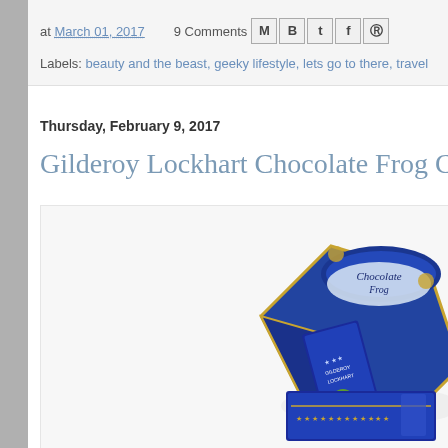at March 01, 2017   9 Comments
Labels: beauty and the beast, geeky lifestyle, lets go to there, travel
Thursday, February 9, 2017
Gilderoy Lockhart Chocolate Frog Card
[Figure (photo): Photo of a Hogwarts Chocolate Frog box (blue and gold decorated packaging) with a wizard trading card partially visible, on a white background]